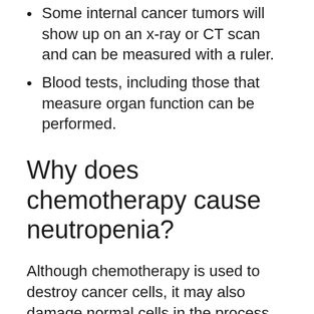Some internal cancer tumors will show up on an x-ray or CT scan and can be measured with a ruler.
Blood tests, including those that measure organ function can be performed.
Why does chemotherapy cause neutropenia?
Although chemotherapy is used to destroy cancer cells, it may also damage normal cells in the process, including neutrophils. When these infection-fighting white blood cells are used up or destroyed faster than the bone marrow can make new ones, neutropenia may result.